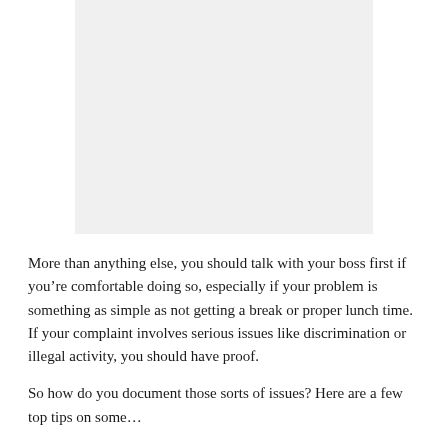[Figure (other): A light gray rectangular image placeholder occupying the upper portion of the page.]
More than anything else, you should talk with your boss first if you’re comfortable doing so, especially if your problem is something as simple as not getting a break or proper lunch time. If your complaint involves serious issues like discrimination or illegal activity, you should have proof.
So how do you document those sorts of issues? Here are a few top tips on some…